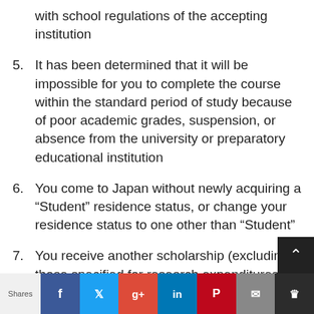with school regulations of the accepting institution
5. It has been determined that it will be impossible for you to complete the course within the standard period of study because of poor academic grades, suspension, or absence from the university or preparatory educational institution
6. You come to Japan without newly acquiring a “Student” residence status, or change your residence status to one other than “Student”
7. You receive another scholarship (excluding those specified for research expenditures)
8. You proceed to a more advanced level of
Shares | Facebook | Twitter | Google+ | LinkedIn | Pinterest | Email | (crown icon)